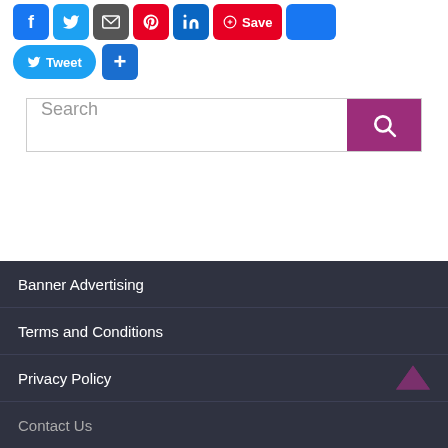[Figure (screenshot): Social sharing buttons row 1: Facebook, Twitter, Email, Pinterest, LinkedIn, Pinterest Save, and More button]
[Figure (screenshot): Social sharing buttons row 2: Tweet button and Plus/Share button]
[Figure (screenshot): Search bar with purple search button]
Banner Advertising
Terms and Conditions
Privacy Policy
Contact Us